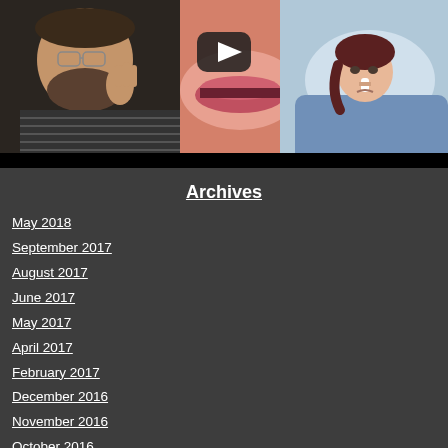[Figure (screenshot): Video thumbnail showing a man touching his face on the left side and a medical illustration of a woman lying in bed on the right side, with a YouTube play button overlay in the center top area.]
Archives
May 2018
September 2017
August 2017
June 2017
May 2017
April 2017
February 2017
December 2016
November 2016
October 2016
September 2016